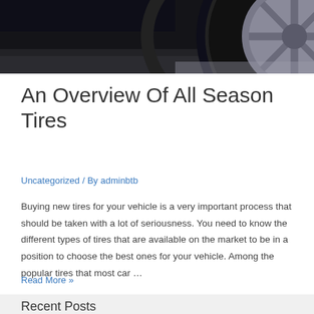[Figure (photo): Close-up photo of a car tire and wheel on a dark surface, showing the side profile of the tire and alloy wheel]
An Overview Of All Season Tires
Uncategorized / By adminbtb
Buying new tires for your vehicle is a very important process that should be taken with a lot of seriousness. You need to know the different types of tires that are available on the market to be in a position to choose the best ones for your vehicle. Among the popular tires that most car …
Read More »
Recent Posts